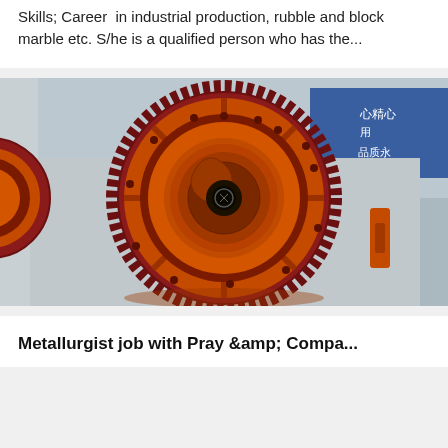Skills; Career  in industrial production, rubble and block marble etc. S/he is a qualified person who has the...
[Figure (photo): Front-facing view of a large orange industrial ball mill or rotary drum machine with circular gear ring around the perimeter, concentric rings, and a central hollow cylindrical opening showing a spiral interior. Chinese text signage visible in the background top-right corner. Industrial factory setting.]
Metallurgist job with Pray &amp; Compa...